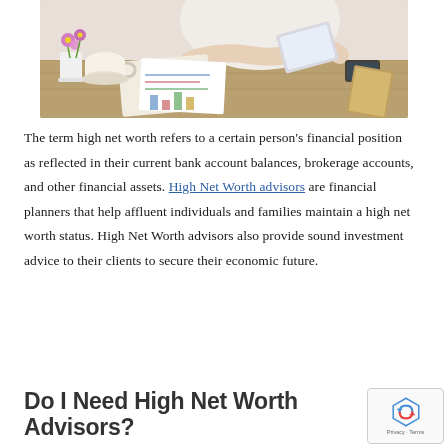[Figure (photo): A woman sitting at a desk working with a tablet, papers with financial charts spread on the table, a coffee cup and flower vase in the background]
The term high net worth refers to a certain person's financial position as reflected in their current bank account balances, brokerage accounts, and other financial assets. High Net Worth advisors are financial planners that help affluent individuals and families maintain a high net worth status. High Net Worth advisors also provide sound investment advice to their clients to secure their economic future.
Do I Need High Net Worth Advisors?